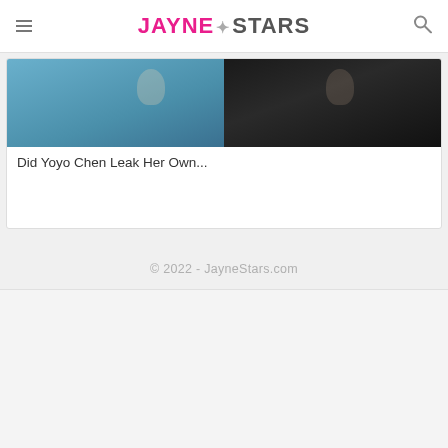JayneStars
[Figure (photo): Partial photo of two people, one in teal/blue clothing on the left and one in dark clothing on the right, cropped at top]
Did Yoyo Chen Leak Her Own...
© 2022 - JayneStars.com